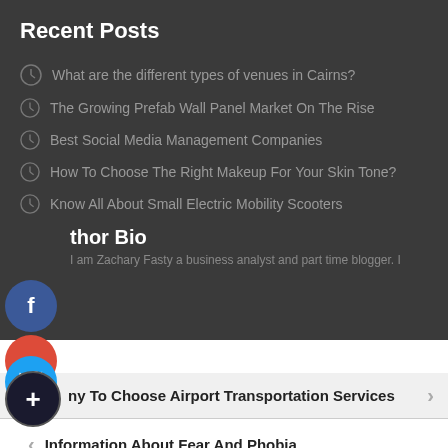Recent Posts
What are the different types of venues in Cairns?
The Growing Prefab Wall Panel Market On The Rise
Best Social Media Management Companies
How To Choose The Right Makeup For Your Skin Tone?
Know All About Small Electric Mobility Scooters
Author Bio
I am Zachary Fasty a business analyst and part time blogger. I
Why To Choose Airport Transportation Services
Information About Fear And Phobia